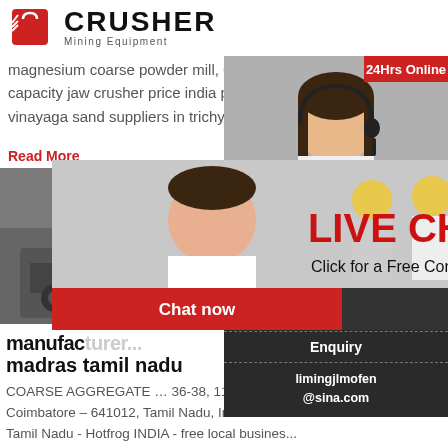[Figure (logo): Crusher Mining Equipment logo with red shopping bag icon and bold CRUSHER text]
magnesium coarse powder mill, Grinding Mill china a large capacity jaw crusher price india pebble coarse aggregate, sri vinayaga sand suppliers in trichy road is a leading provider .
Read More
[Figure (photo): Mining equipment and workers in hard hats at a construction/mining site]
[Figure (infographic): Live Chat popup overlay with woman in hardhat, LIVE CHAT heading, Click for a Free Consultation subtext, Chat now and Chat later buttons]
[Figure (photo): Woman with headset on right sidebar, 24Hrs Online badge]
manufacturers aggregate stones madras tamil nadu
COARSE AGGREGATE … 36-38, 11 th Street, T... Coimbatore – 641012, Tamil Nadu, India : Phon... Tamil Nadu - Hotfrog INDIA - free local busines... We are manufacturers of Aggregate stones of W... from 60mm to coarse and fine dust. ...
Read More
Need questions & suggestion?
Chat Now
Enquiry
limingjlmofen@sina.com